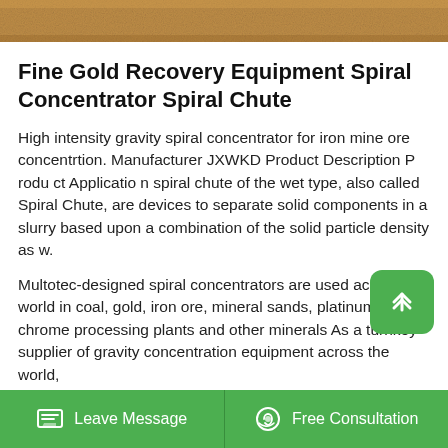[Figure (photo): Top banner image showing sandy/rocky ground texture with YIPEAK branding text and 'TO BE YOUR SATISFIED PARTNER' text on right]
Fine Gold Recovery Equipment Spiral Concentrator Spiral Chute
High intensity gravity spiral concentrator for iron mine ore concentrtion. Manufacturer JXWKD Product Description P rodu ct Applicatio n spiral chute of the wet type, also called Spiral Chute, are devices to separate solid components in a slurry based upon a combination of the solid particle density as w.
Multotec-designed spiral concentrators are used across the world in coal, gold, iron ore, mineral sands, platinum and chrome processing plants and other minerals As a turnkey supplier of gravity concentration equipment across the world,
Leave Message   Free Consultation